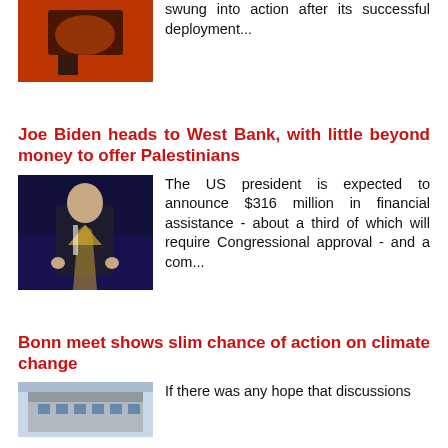[Figure (photo): Top article image with red/orange background showing some object]
swung into action after its successful deployment...
Joe Biden heads to West Bank, with little beyond money to offer Palestinians
[Figure (photo): Joe Biden speaking at a podium with dramatic lighting on dark background]
The US president is expected to announce $316 million in financial assistance - about a third of which will require Congressional approval - and a com...
Bonn meet shows slim chance of action on climate change
[Figure (photo): Building exterior photo related to Bonn climate meeting]
If there was any hope that discussions